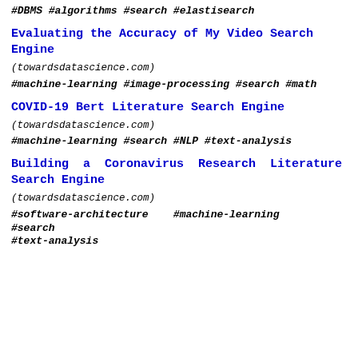#DBMS #algorithms #search #elastisearch
Evaluating the Accuracy of My Video Search Engine
(towardsdatascience.com)
#machine-learning #image-processing #search #math
COVID-19 Bert Literature Search Engine
(towardsdatascience.com)
#machine-learning #search #NLP #text-analysis
Building a Coronavirus Research Literature Search Engine
(towardsdatascience.com)
#software-architecture #machine-learning #search #text-analysis